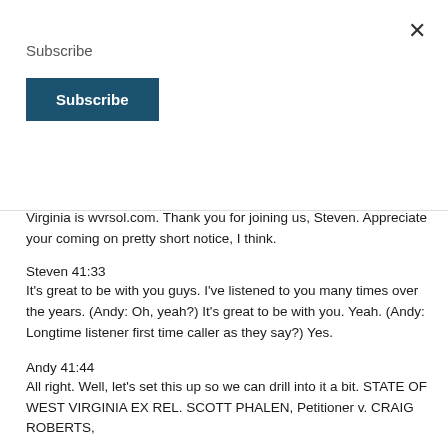Subscribe
Subscribe
Virginia is wvrsol.com. Thank you for joining us, Steven. Appreciate your coming on pretty short notice, I think.
Steven 41:33
It's great to be with you guys. I've listened to you many times over the years. (Andy: Oh, yeah?) It's great to be with you. Yeah. (Andy: Longtime listener first time caller as they say?) Yes.
Andy 41:44
All right. Well, let's set this up so we can drill into it a bit. STATE OF WEST VIRGINIA EX REL. SCOTT PHALEN, Petitioner v. CRAIG ROBERTS,